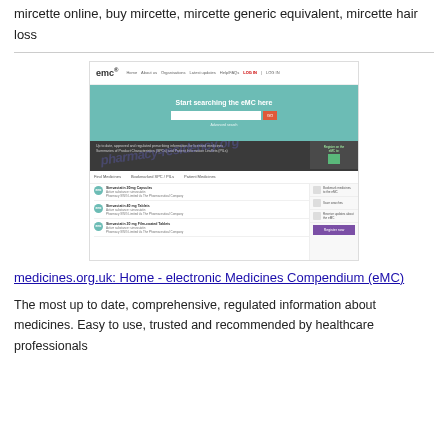mircette online, buy mircette, mircette generic equivalent, mircette hair loss
[Figure (screenshot): Screenshot of the emc (electronic Medicines Compendium) website homepage showing search interface, medicine listings, and registration sidebar]
medicines.org.uk: Home - electronic Medicines Compendium (eMC)
The most up to date, comprehensive, regulated information about medicines. Easy to use, trusted and recommended by healthcare professionals